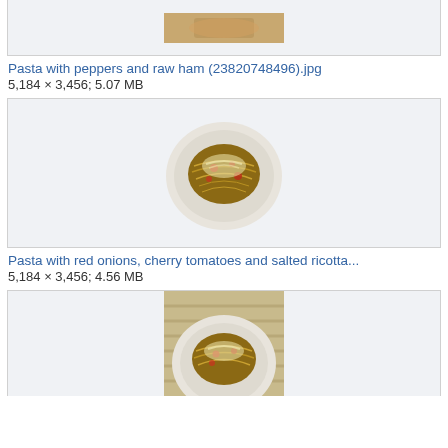[Figure (photo): Partial top image of a pasta dish, cropped at top of page]
Pasta with peppers and raw ham (23820748496).jpg
5,184 × 3,456; 5.07 MB
[Figure (photo): Spaghetti with red sauce, tomatoes, and grated cheese on a white plate]
Pasta with red onions, cherry tomatoes and salted ricotta...
5,184 × 3,456; 4.56 MB
[Figure (photo): Spaghetti with tomato sauce and grated cheese on a white plate, partially visible at bottom of page]